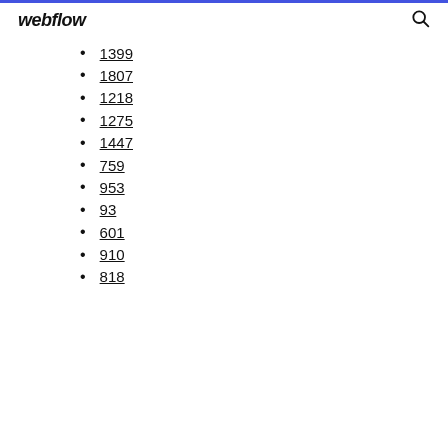webflow
1399
1807
1218
1275
1447
759
953
93
601
910
818